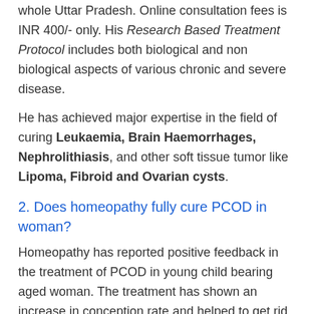whole Uttar Pradesh. Online consultation fees is INR 400/- only. His Research Based Treatment Protocol includes both biological and non biological aspects of various chronic and severe disease.
He has achieved major expertise in the field of curing Leukaemia, Brain Haemorrhages, Nephrolithiasis, and other soft tissue tumor like Lipoma, Fibroid and Ovarian cysts.
2. Does homeopathy fully cure PCOD in woman?
Homeopathy has reported positive feedback in the treatment of PCOD in young child bearing aged woman. The treatment has shown an increase in conception rate and helped to get rid of symptoms like irregular and painful mense, weight gain, hormonal imbalance and low fertility rate.